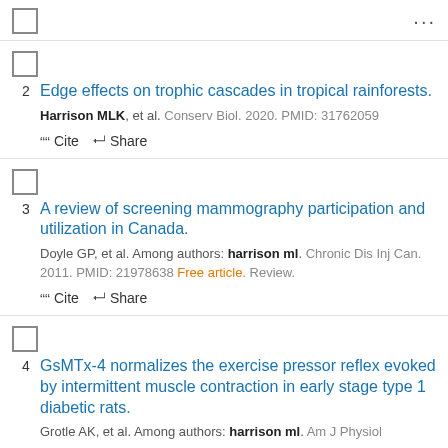2. Edge effects on trophic cascades in tropical rainforests. Harrison MLK, et al. Conserv Biol. 2020. PMID: 31762059
3. A review of screening mammography participation and utilization in Canada. Doyle GP, et al. Among authors: harrison ml. Chronic Dis Inj Can. 2011. PMID: 21978638 Free article. Review.
4. GsMTx-4 normalizes the exercise pressor reflex evoked by intermittent muscle contraction in early stage type 1 diabetic rats. Grotle AK, et al. Among authors: harrison ml. Am J Physiol